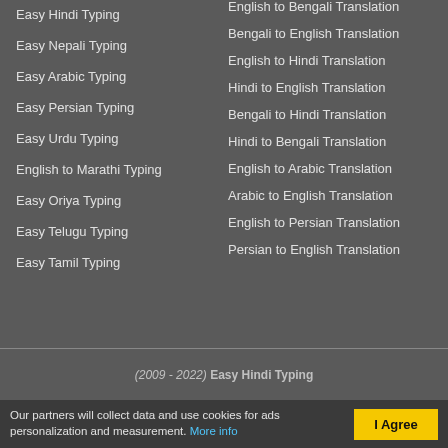Easy Hindi Typing
Easy Nepali Typing
Easy Arabic Typing
Easy Persian Typing
Easy Urdu Typing
English to Marathi Typing
Easy Oriya Typing
Easy Telugu Typing
Easy Tamil Typing
English to Bengali Translation
Bengali to English Translation
English to Hindi Translation
Hindi to English Translation
Bengali to Hindi Translation
Hindi to Bengali Translation
English to Arabic Translation
Arabic to English Translation
English to Persian Translation
Persian to English Translation
(2009 - 2022) Easy Hindi Typing
Our partners will collect data and use cookies for ads personalization and measurement. More info